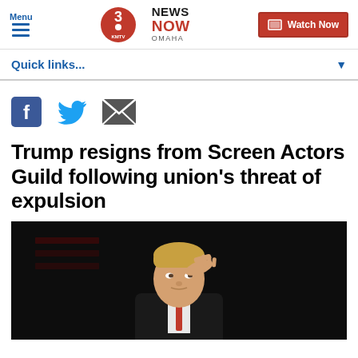Menu | 3 NEWS NOW KMTV OMAHA | Watch Now
Quick links...
[Figure (other): Social share icons: Facebook, Twitter, Email]
Trump resigns from Screen Actors Guild following union's threat of expulsion
[Figure (photo): Photo of Donald Trump shielding his eyes with his hand, looking upward, wearing a suit and red tie, American flag in background, dark background]